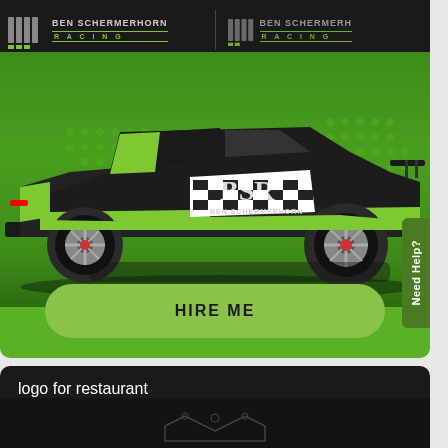[Figure (screenshot): Ben Schermerhorn Racing website screenshot showing a black and green Porsche 911 GT3 race car with racing livery including checkerboard pattern and BSR number, on a bright green background with header bar showing the BSR Racing logo twice]
HIRE ME
Need Help?
logo for restaurant